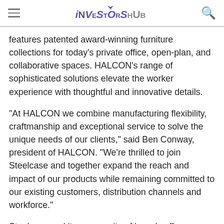iNVeStOrShUb
features patented award-winning furniture collections for today’s private office, open-plan, and collaborative spaces. HALCON’s range of sophisticated solutions elevate the worker experience with thoughtful and innovative details.
“At HALCON we combine manufacturing flexibility, craftmanship and exceptional service to solve the unique needs of our clients,” said Ben Conway, president of HALCON. “We’re thrilled to join Steelcase and together expand the reach and impact of our products while remaining committed to our existing customers, distribution channels and workforce.”
Steelcase and its community of brands offer an extensive selection of solutions and services designed to support the way people and organizations want to work today.